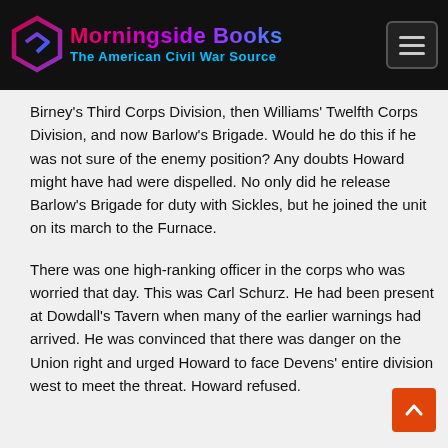Morningside Books – The American Civil War Source
Birney's Third Corps Division, then Williams' Twelfth Corps Division, and now Barlow's Brigade. Would he do this if he was not sure of the enemy position? Any doubts Howard might have had were dispelled. No only did he release Barlow's Brigade for duty with Sickles, but he joined the unit on its march to the Furnace.
There was one high-ranking officer in the corps who was worried that day. This was Carl Schurz. He had been present at Dowdall's Tavern when many of the earlier warnings had arrived. He was convinced that there was danger on the Union right and urged Howard to face Devens' entire division west to meet the threat. Howard refused.